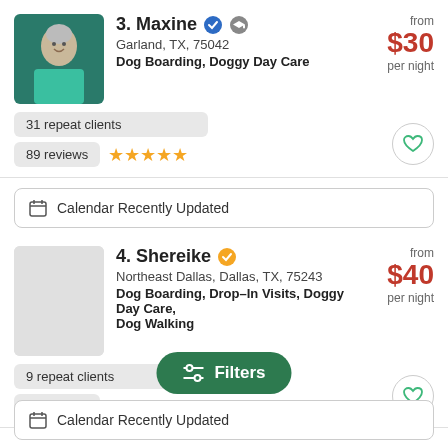[Figure (photo): Profile photo of Maxine, an older woman with short gray hair, smiling, wearing a teal top]
3. Maxine
Garland, TX, 75042
Dog Boarding, Doggy Day Care
from $30 per night
31 repeat clients
89 reviews
Calendar Recently Updated
[Figure (photo): Placeholder gray square for Shereike's profile photo]
4. Shereike
Northeast Dallas, Dallas, TX, 75243
Dog Boarding, Drop-In Visits, Doggy Day Care, Dog Walking
from $40 per night
9 repeat clients
25 reviews
Filters
Calendar Recently Updated